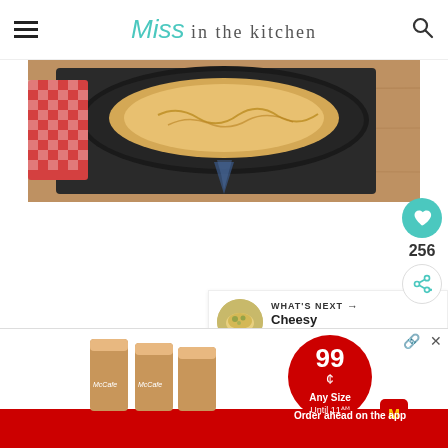Miss in the kitchen
[Figure (photo): Top-down view of a dark cast-iron or slate skillet with melted cheesy food, with a red checkered cloth beside it on a wood surface]
[Figure (infographic): Side action buttons: heart/save button (teal circle with heart icon) showing count 256, and share button below]
256
[Figure (infographic): What's Next panel showing a thumbnail of cheesy chicken pasta dish with label WHAT'S NEXT → Cheesy Chicken Pasta]
[Figure (photo): McDonald's McCafe advertisement showing three iced coffee drinks, 99 cents any size until 11AM, Order ahead on the app]